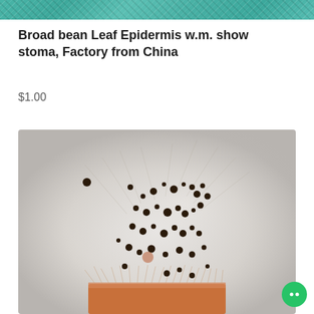[Figure (photo): Teal/turquoise textured background image at top of product listing page]
Broad bean Leaf Epidermis w.m. show stoma, Factory from China
$1.00
[Figure (photo): Microscope slide image showing broad bean leaf epidermis with visible stomata (dark dots) and fine hairs/trichomes against a gray gradient background, with an orange-brown tissue section at the bottom]
[Figure (other): Green circular chat/messenger button in bottom right corner]